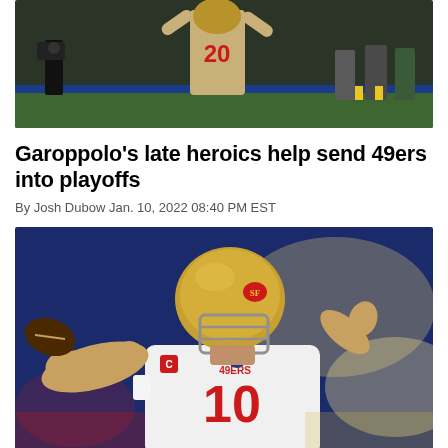[Figure (photo): Football player wearing number 20 jersey celebrating on the field, with camera crew and other people in the background on a green field]
Garoppolo's late heroics help send 49ers into playoffs
By Josh Dubow Jan. 10, 2022 08:40 PM EST
[Figure (photo): San Francisco 49ers quarterback Jimmy Garoppolo (#10) in white jersey with gold helmet throwing a pass, with blurred blue background]